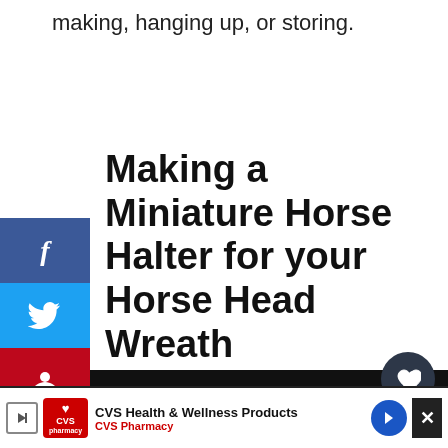making, hanging up, or storing.
Making a Miniature Horse Halter for your Horse Head Wreath
[Figure (screenshot): Social media share sidebar with Facebook (blue), Twitter (blue), and Pinterest (red) buttons on the left side]
[Figure (screenshot): Heart/like widget showing 129K likes and a share button]
One of the things that I think really ties together these horse head wreath addition of a decorative horse halter.
[Figure (screenshot): What's Next panel showing thumbnail and text: How to Make a Wreath from...]
[Figure (screenshot): CVS Health & Wellness Products advertisement banner at the bottom with CVS Pharmacy logo and navigation arrow]